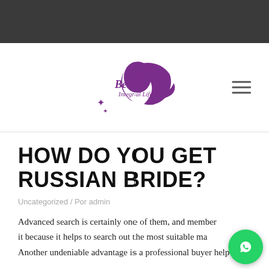[Figure (logo): Belleza Integral logo — purple silhouette of a woman's face with script text 'Belleza Integral' in purple]
HOW DO YOU GET RUSSIAN BRIDE?
Uncategorized / Por admin
Advanced search is certainly one of them, and members it because it helps to search out the most suitable ma... Another undeniable advantage is a professional buyer help